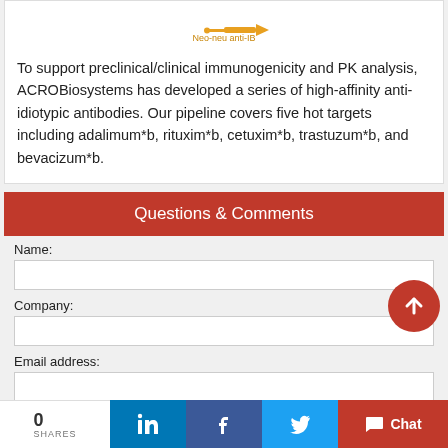[Figure (logo): ACROBiosystems anti-idiotypic antibody logo graphic with orange arrow/instrument icon and text 'Neo-neu anti-IB']
To support preclinical/clinical immunogenicity and PK analysis, ACROBiosystems has developed a series of high-affinity anti-idiotypic antibodies. Our pipeline covers five hot targets including adalimum*b, rituxim*b, cetuxim*b, trastuzum*b, and bevacizum*b.
Questions & Comments
Name:
Company:
Email address:
Message:
0
SHARES